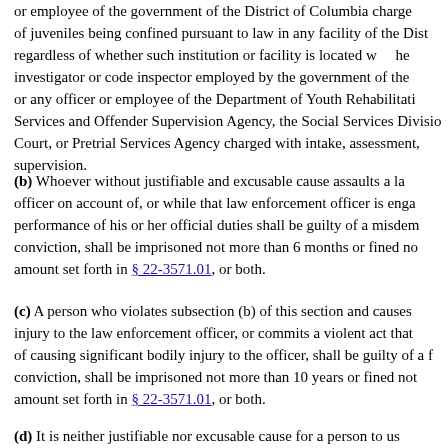or employee of the government of the District of Columbia charged with the care of juveniles being confined pursuant to law in any facility of the District, regardless of whether such institution or facility is located within the District, investigator or code inspector employed by the government of the District, or any officer or employee of the Department of Youth Rehabilitation Services and Offender Supervision Agency, the Social Services Division of the Court, or Pretrial Services Agency charged with intake, assessment, or supervision.
(b) Whoever without justifiable and excusable cause assaults a law enforcement officer on account of, or while that law enforcement officer is engaged in the performance of his or her official duties shall be guilty of a misdemeanor and, upon conviction, shall be imprisoned not more than 6 months or fined not more than the amount set forth in § 22-3571.01, or both.
(c) A person who violates subsection (b) of this section and causes significant bodily injury to the law enforcement officer, or commits a violent act that creates a grave risk of causing significant bodily injury to the officer, shall be guilty of a felony and, upon conviction, shall be imprisoned not more than 10 years or fined not more than the amount set forth in § 22-3571.01, or both.
(d) It is neither justifiable nor excusable cause for a person to use